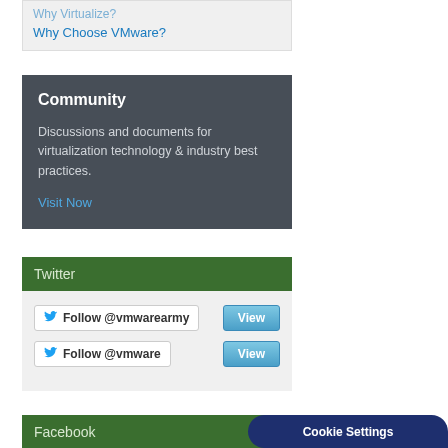Why Virtualize? (partially visible)
Why Choose VMware?
Community
Discussions and documents for virtualization technology & industry best practices.
Visit Now
Twitter
Follow @vmwarearmy
View
Follow @vmware
View
Facebook
Cookie Settings